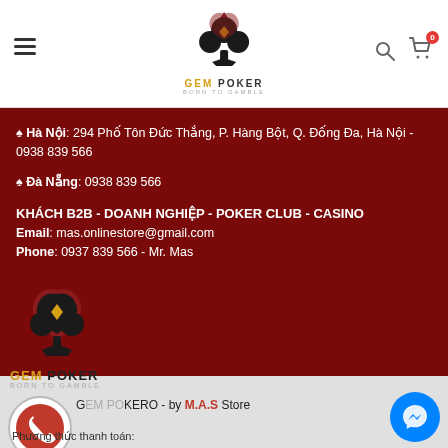[Figure (logo): Gem Poker logo with spade/club icon in header]
♠ Hà Nội: 294 Phố Tôn Đức Thắng, P. Hàng Bột, Q. Đống Đa, Hà Nội - 0938 839 566
♠ Đà Nẵng: 0938 839 566
KHÁCH B2B - DOANH NGHIỆP - POKER CLUB - CASINO
Email: mas.onlinestore@gmail.com
Phone: 0937 839 566 - Mr. Mas
[Figure (logo): Gem Poker logo with spade/club icon in footer]
GEM POKER
GEM POKERO - by M.A.S Store
Phương thức thanh toán: